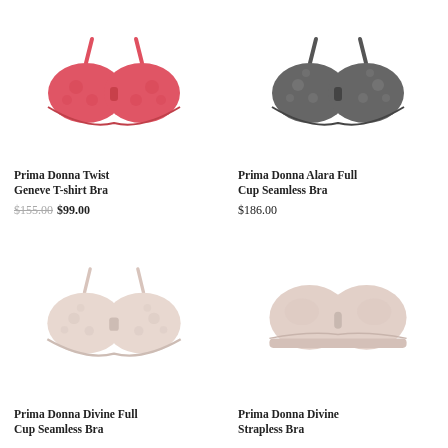[Figure (photo): Prima Donna Twist Geneve T-shirt Bra in coral/red-pink color]
Prima Donna Twist Geneve T-shirt Bra
$155.00 $99.00
[Figure (photo): Prima Donna Alara Full Cup Seamless Bra in dark grey color]
Prima Donna Alara Full Cup Seamless Bra
$186.00
[Figure (photo): Prima Donna Divine Full Cup Seamless Bra in pale blush/nude color with lace]
Prima Donna Divine Full Cup Seamless Bra
[Figure (photo): Prima Donna Divine Strapless Bra in pale blush/nude color]
Prima Donna Divine Strapless Bra